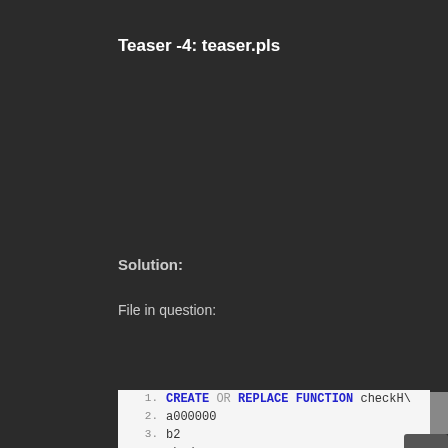Teaser -4: teaser.pls
Solution:
File in question:
CREATE OR REPLACE FUNCTION checkH\
a000000
b2
abcd
abcd
abcd
abcd
abcd
abcd
abcd
abcd
abcd
abcd
abcd
abcd